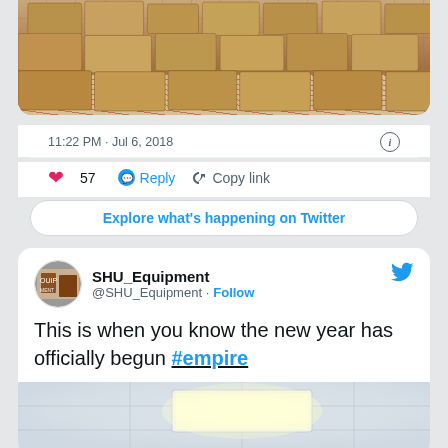[Figure (photo): Photo of stacked cardboard boxes on a patterned carpet, top portion of tweet]
11:22 PM · Jul 6, 2018
57  Reply  Copy link
Explore what's happening on Twitter
SHU_Equipment
@SHU_Equipment · Follow
This is when you know the new year has officially begun #empire
[Figure (photo): Photo of a room ceiling with a bright ceiling light panel, bottom of page]